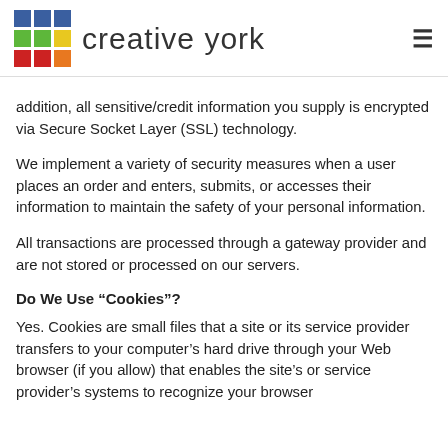creative york
addition, all sensitive/credit information you supply is encrypted via Secure Socket Layer (SSL) technology.
We implement a variety of security measures when a user places an order and enters, submits, or accesses their information to maintain the safety of your personal information.
All transactions are processed through a gateway provider and are not stored or processed on our servers.
Do We Use “Cookies”?
Yes. Cookies are small files that a site or its service provider transfers to your computer’s hard drive through your Web browser (if you allow) that enables the site’s or service provider’s systems to recognize your browser